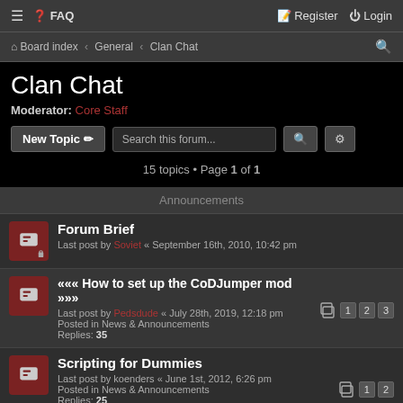≡ FAQ  Register Login
Board index « General « Clan Chat
Clan Chat
Moderator: Core Staff
15 topics • Page 1 of 1
Announcements
Forum Brief — Last post by Soviet « September 16th, 2010, 10:42 pm
««« How to set up the CoDJumper mod »»» — Last post by Pedsdude « July 28th, 2019, 12:18 pm — Posted in News & Announcements — Replies: 35
Scripting for Dummies — Last post by koenders « June 1st, 2012, 6:26 pm — Posted in News & Announcements — Replies: 25